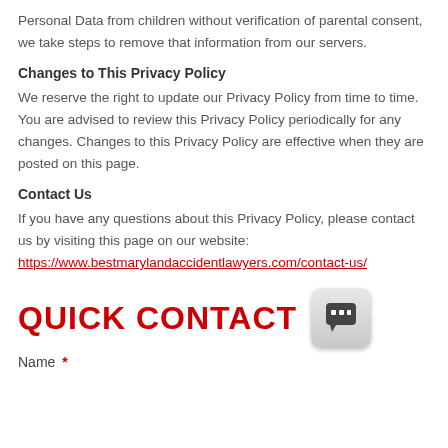Personal Data from children without verification of parental consent, we take steps to remove that information from our servers.
Changes to This Privacy Policy
We reserve the right to update our Privacy Policy from time to time. You are advised to review this Privacy Policy periodically for any changes. Changes to this Privacy Policy are effective when they are posted on this page.
Contact Us
If you have any questions about this Privacy Policy, please contact us by visiting this page on our website: https://www.bestmarylandaccidentlawyers.com/contact-us/
QUICK CONTACT
Name *